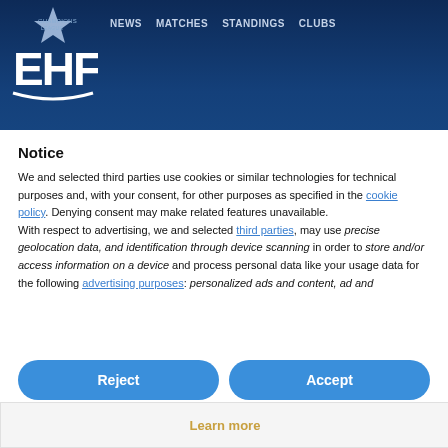[Figure (logo): EHF Champions League logo — white EHF letters with star on dark blue background]
NEWS   MATCHES   STANDINGS   CLUBS
SPANISH DERBY HIGHLIGHTS QUARTER-FINAL DRAW
Notice
We and selected third parties use cookies or similar technologies for technical purposes and, with your consent, for other purposes as specified in the cookie policy. Denying consent may make related features unavailable.
With respect to advertising, we and selected third parties, may use precise geolocation data, and identification through device scanning in order to store and/or access information on a device and process personal data like your usage data for the following advertising purposes: personalized ads and content, ad and
Reject
Accept
Learn more
The eight teams left in the European Cup Women 2021/22 have received their road map to the final. The